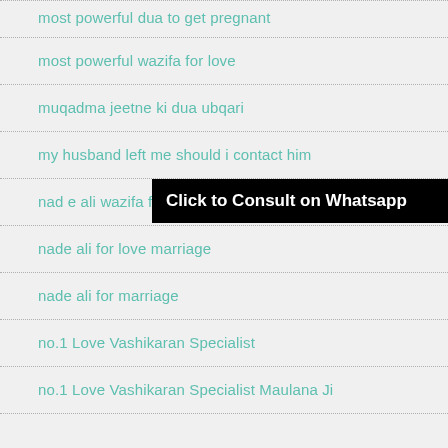most powerful dua to get pregnant
most powerful wazifa for love
muqadma jeetne ki dua ubqari
my husband left me should i contact him
nad e ali wazifa for love m...
[Figure (screenshot): Black overlay banner reading 'Click to Consult on Whatsapp']
nade ali for love marriage
nade ali for marriage
no.1 Love Vashikaran Specialist
no.1 Love Vashikaran Specialist Maulana Ji